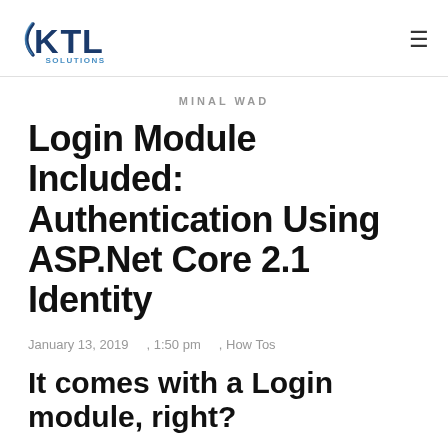KTL Solutions
MINAL WAD
Login Module Included: Authentication Using ASP.Net Core 2.1 Identity
January 13, 2019    , 1:50 pm    , How Tos
It comes with a Login module, right?